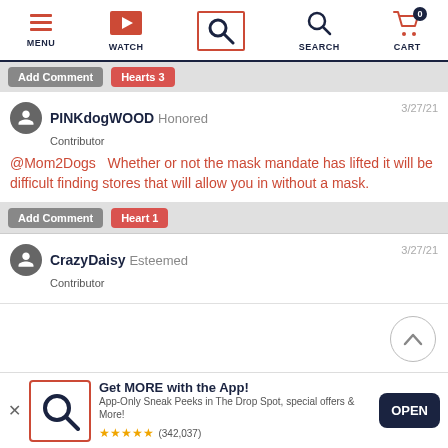[Figure (screenshot): App navigation bar with MENU, WATCH, Search (highlighted with red border), SEARCH, and CART (with 0 badge) icons]
Add Comment   Hearts 3
PINKdogWOOD  Honored
Contributor
3/27/21
@Mom2Dogs   Whether or not the mask mandate has lifted it will be difficult finding stores that will allow you in without a mask.
Add Comment   Heart 1
CrazyDaisy  Esteemed
Contributor
3/27/21
Get MORE with the App!
App-Only Sneak Peeks in The Drop Spot, special offers & More!
★★★★★ (342,037)